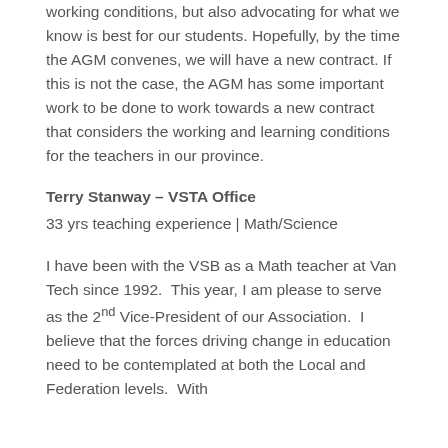working conditions, but also advocating for what we know is best for our students. Hopefully, by the time the AGM convenes, we will have a new contract. If this is not the case, the AGM has some important work to be done to work towards a new contract that considers the working and learning conditions for the teachers in our province.
Terry Stanway – VSTA Office
33 yrs teaching experience | Math/Science
I have been with the VSB as a Math teacher at Van Tech since 1992. This year, I am please to serve as the 2nd Vice-President of our Association. I believe that the forces driving change in education need to be contemplated at both the Local and Federation levels. With